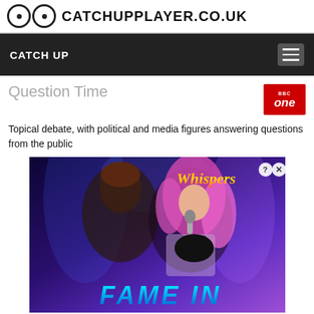CATCHUPPLAYER.CO.UK
CATCH UP
Question Time
Topical debate, with political and media figures answering questions from the public
[Figure (illustration): Advertisement image showing animated characters - a man with dark hair and a woman with pink hair singing, with 'Whispers' text in orange/gold and 'FAME IN' text in blue at the bottom. Ad close/info buttons visible in top right.]